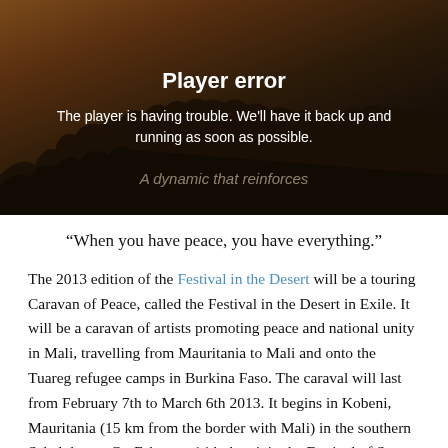[Figure (screenshot): Video player error screen with dark brown/amber background showing silhouettes of people and the text 'Player error' and 'The player is having trouble. We'll have it back up and running as soon as possible.' with a subtitle 'A dynamic that reinforces']
“When you have peace, you have everything.”
The 2013 edition of the Festival in the Desert will be a touring Caravan of Peace, called the Festival in the Desert in Exile. It will be a caravan of artists promoting peace and national unity in Mali, travelling from Mauritania to Mali and onto the Tuareg refugee camps in Burkina Faso. The caraval will last from February 7th to March 6th 2013. It begins in Kobeni, Mauritania (15 km from the border with Mali) in the southern Sahel desert. On February 14th they join the Festival of Segou